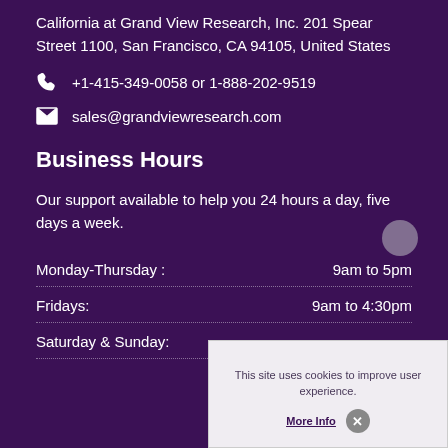California at Grand View Research, Inc. 201 Spear Street 1100, San Francisco, CA 94105, United States
+1-415-349-0058 or 1-888-202-9519
sales@grandviewresearch.com
Business Hours
Our support available to help you 24 hours a day, five days a week.
| Day | Hours |
| --- | --- |
| Monday-Thursday : | 9am to 5pm |
| Fridays: | 9am to 4:30pm |
| Saturday & Sunday: |  |
This site uses cookies to improve user experience.
More Info  X